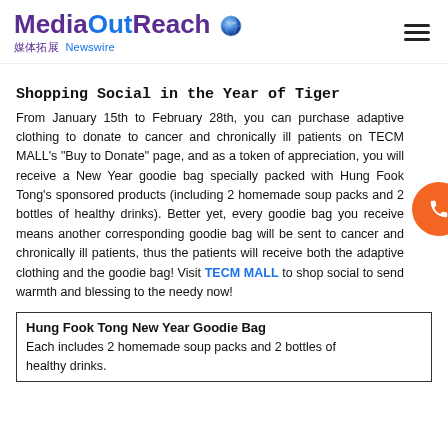MediaOutReach 媒体拓展 Newswire
Shopping Social in the Year of Tiger
From January 15th to February 28th, you can purchase adaptive clothing to donate to cancer and chronically ill patients on TECM MALL's "Buy to Donate" page, and as a token of appreciation, you will receive a New Year goodie bag specially packed with Hung Fook Tong's sponsored products (including 2 homemade soup packs and 2 bottles of healthy drinks). Better yet, every goodie bag you receive means another corresponding goodie bag will be sent to cancer and chronically ill patients, thus the patients will receive both the adaptive clothing and the goodie bag! Visit TECM MALL to shop social to send warmth and blessing to the needy now!
| Hung Fook Tong New Year Goodie Bag |
| --- |
| Each includes 2 homemade soup packs and 2 bottles of healthy drinks. |